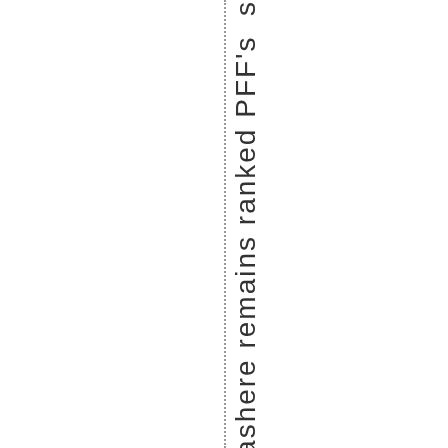Dowlashere remains ranked PFF's